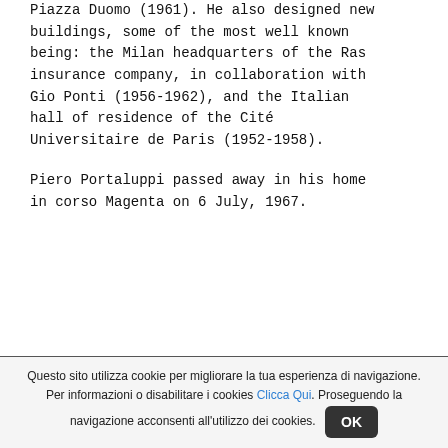Piazza Duomo (1961). He also designed new buildings, some of the most well known being: the Milan headquarters of the Ras insurance company, in collaboration with Gio Ponti (1956-1962), and the Italian hall of residence of the Cité Universitaire de Paris (1952-1958).
Piero Portaluppi passed away in his home in corso Magenta on 6 July, 1967.
Questo sito utilizza cookie per migliorare la tua esperienza di navigazione. Per informazioni o disabilitare i cookies Clicca Qui. Proseguendo la navigazione acconsenti all'utilizzo dei cookies. OK